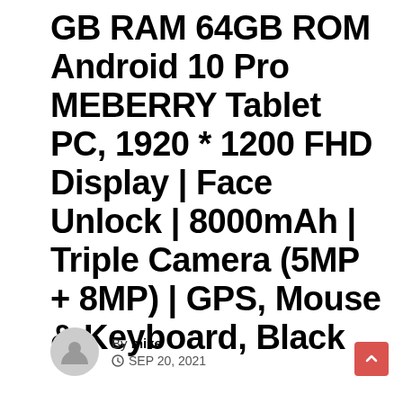GB RAM 64GB ROM Android 10 Pro MEBERRY Tablet PC, 1920 * 1200 FHD Display | Face Unlock | 8000mAh | Triple Camera (5MP + 8MP) | GPS, Mouse & Keyboard, Black
By mike
SEP 20, 2021